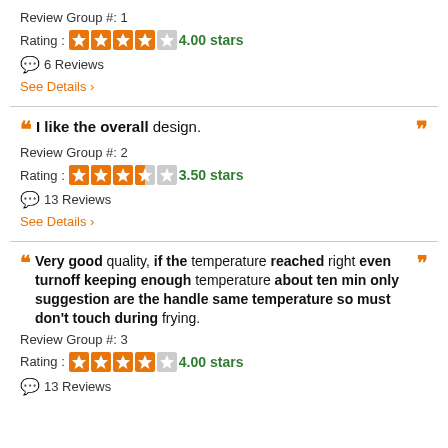Review Group #: 1
Rating : 4.00 stars
6 Reviews
See Details >
" I like the overall design. "
Review Group #: 2
Rating : 3.50 stars
13 Reviews
See Details >
" Very good quality, if the temperature reached right even turnoff keeping enough temperature about ten min only suggestion are the handle same temperature so must don't touch during frying. "
Review Group #: 3
Rating : 4.00 stars
13 Reviews